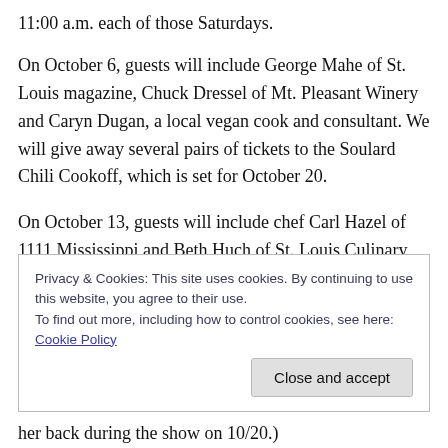11:00 a.m. each of those Saturdays.
On October 6, guests will include George Mahe of St. Louis magazine, Chuck Dressel of Mt. Pleasant Winery and Caryn Dugan, a local vegan cook and consultant. We will give away several pairs of tickets to the Soulard Chili Cookoff, which is set for October 20.
On October 13, guests will include chef Carl Hazel of 1111 Mississippi and Beth Huch of St. Louis Culinary Tours.
On October 20, we will broadcast live from the Soulard
Privacy & Cookies: This site uses cookies. By continuing to use this website, you agree to their use.
To find out more, including how to control cookies, see here: Cookie Policy
her back during the show on 10/20.)